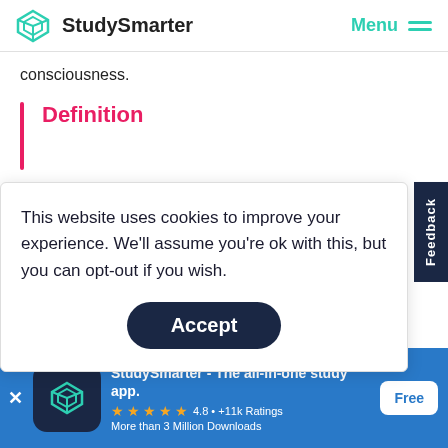StudySmarter   Menu
consciousness.
Definition
This website uses cookies to improve your experience. We'll assume you're ok with this, but you can opt-out if you wish.
Accept
Feedback
StudySmarter - The all-in-one study app.
★★★★★ 4.8 • +11k Ratings
More than 3 Million Downloads
Free